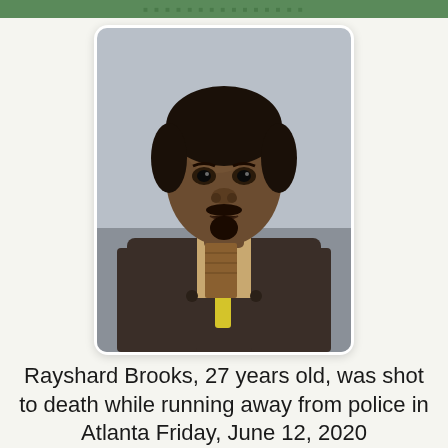[Figure (photo): Portrait photo of Rayshard Brooks, a young Black man wearing a brown jacket and yellow lanyard with a patterned tie, photographed outdoors with a grey sky background.]
Rayshard Brooks, 27 years old, was shot to death while running away from police in Atlanta Friday, June 12, 2020